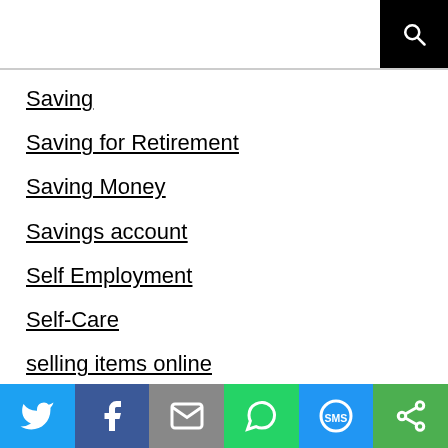Saving
Saving for Retirement
Saving Money
Savings account
Self Employment
Self-Care
selling items online
shop for christmas
shopify
Shopping
Side Gigs
Social share bar: Twitter, Facebook, Email, WhatsApp, SMS, More